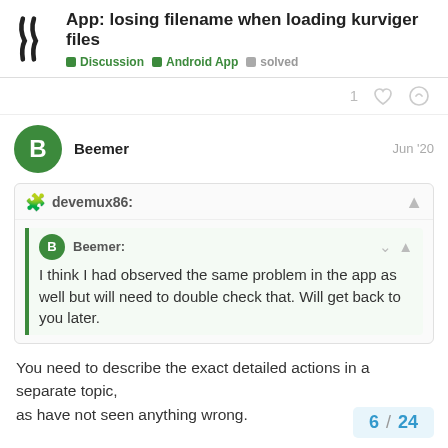App: losing filename when loading kurviger files
Discussion  Android App  solved
1
Beemer  Jun '20
devemux86:
Beemer: I think I had observed the same problem in the app as well but will need to double check that. Will get back to you later.
You need to describe the exact detailed actions in a separate topic,
as have not seen anything wrong.
6 / 24